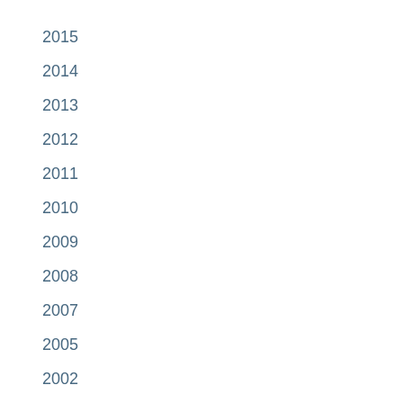2015
2014
2013
2012
2011
2010
2009
2008
2007
2005
2002
1999